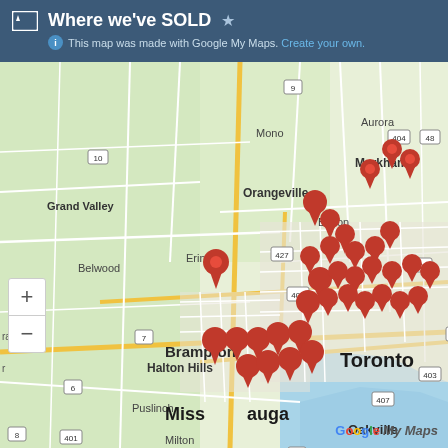Where we've SOLD — This map was made with Google My Maps. Create your own.
[Figure (map): Google My Maps screenshot showing the Greater Toronto Area (GTA) including Brampton, Mississauga, Toronto, Markham, Oakville, Guelph, Burlington, Hamilton, Milton, Halton Hills, Erin, Orangeville, Grand Valley, Belwood, Bolton, Aurora. Numerous red map pin markers are clustered heavily in Toronto, Mississauga, and surrounding areas indicating sold real estate properties. Roads shown in yellow and white on a green/grey base map with Lake Ontario visible in the lower right.]